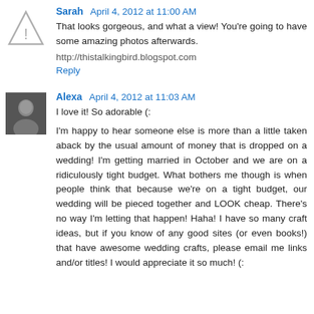Sarah  April 4, 2012 at 11:00 AM
That looks gorgeous, and what a view! You're going to have some amazing photos afterwards.
http://thistalkingbird.blogspot.com
Reply
Alexa  April 4, 2012 at 11:03 AM
I love it! So adorable (:
I'm happy to hear someone else is more than a little taken aback by the usual amount of money that is dropped on a wedding! I'm getting married in October and we are on a ridiculously tight budget. What bothers me though is when people think that because we're on a tight budget, our wedding will be pieced together and LOOK cheap. There's no way I'm letting that happen! Haha! I have so many craft ideas, but if you know of any good sites (or even books!) that have awesome wedding crafts, please email me links and/or titles! I would appreciate it so much! (: